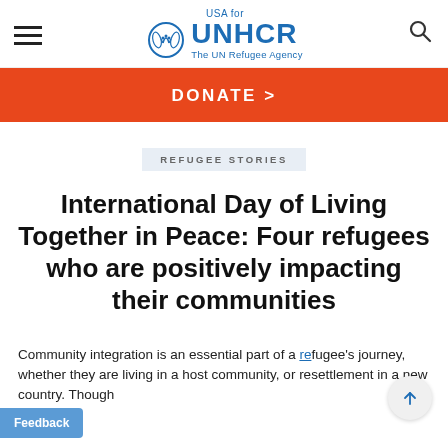USA for UNHCR The UN Refugee Agency
DONATE >
REFUGEE STORIES
International Day of Living Together in Peace: Four refugees who are positively impacting their communities
Community integration is an essential part of a refugee's journey, whether they are living in a host community, or resettlement in a new country. Though